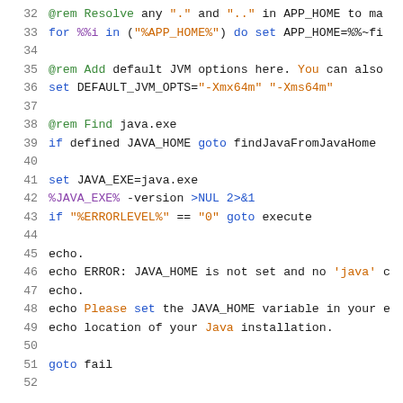32  @rem Resolve any "." and ".." in APP_HOME to ma
33  for %%i in ("%APP_HOME%") do set APP_HOME=%%~fi
34
35  @rem Add default JVM options here. You can also
36  set DEFAULT_JVM_OPTS="-Xmx64m" "-Xms64m"
37
38  @rem Find java.exe
39  if defined JAVA_HOME goto findJavaFromJavaHome
40
41  set JAVA_EXE=java.exe
42  %JAVA_EXE% -version >NUL 2>&1
43  if "%ERRORLEVEL%" == "0" goto execute
44
45  echo.
46  echo ERROR: JAVA_HOME is not set and no 'java' c
47  echo.
48  echo Please set the JAVA_HOME variable in your e
49  echo location of your Java installation.
50
51  goto fail
52